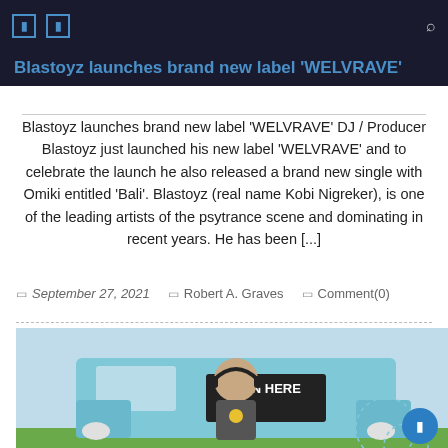Blastoyz launches brand new label 'WELVRAVE'
Blastoyz launches brand new label ‘WELVRAVE’ DJ / Producer Blastoyz just launched his new label ‘WELVRAVE’ and to celebrate the launch he also released a brand new single with Omiki entitled ‘Bali’. Blastoyz (real name Kobi Nigreker), is one of the leading artists of the psytrance scene and dominating in recent years. He has been [...]
September 27, 2021  Robert A. Graves  Comment(0)
[Figure (photo): DJ Blastoyz wearing headphones and a dark t-shirt, seated in front of a light blue van with a sign reading 'TEN HERE' (listen here). Green grass visible in background.]